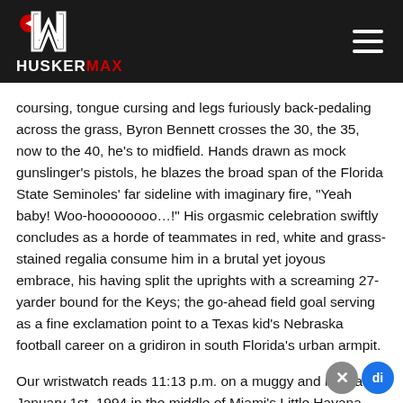HUSKERMAX
coursing, tongue cursing and legs furiously back-pedaling across the grass, Byron Bennett crosses the 30, the 35, now to the 40, he's to midfield. Hands drawn as mock gunslinger's pistols, he blazes the broad span of the Florida State Seminoles' far sideline with imaginary fire, “Yeah baby! Woo-hoooooooo…!” His orgasmic celebration swiftly concludes as a horde of teammates in red, white and grass-stained regalia consume him in a brutal yet joyous embrace, his having split the uprights with a screaming 27-yarder bound for the Keys; the go-ahead field goal serving as a fine exclamation point to a Texas kid's Nebraska football career on a gridiron in south Florida’s urban armpit.
Our wristwatch reads 11:13 p.m. on a muggy and maniacal January 1st, 1994 in the middle of Miami’s Little Havana District. The shifty air is moist and heavy, rain having fallen f…